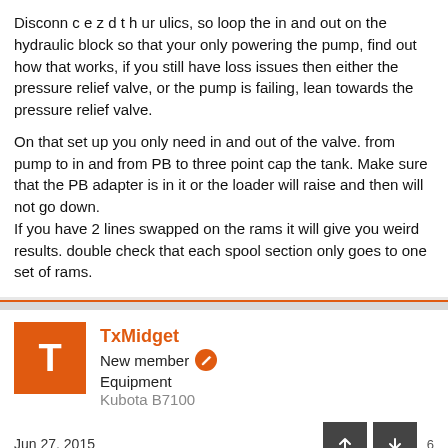Disconnect and the hydraulics, so loop the in and out on the hydraulic block so that your only powering the pump, find out how that works, if you still have loss issues then either the pressure relief valve, or the pump is failing, lean towards the pressure relief valve.

On that set up you only need in and out of the valve. from pump to in and from PB to three point cap the tank. Make sure that the PB adapter is in it or the loader will raise and then will not go down.
If you have 2 lines swapped on the rams it will give you weird results. double check that each spool section only goes to one set of rams.
TxMidget
New member
Equipment
Kubota B7100
Jun 27, 2015